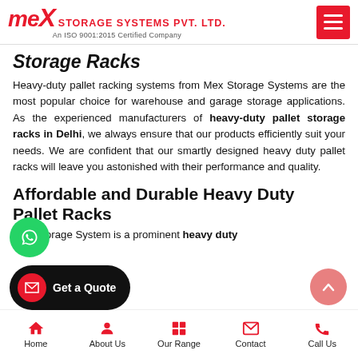[Figure (logo): Mex Storage Systems Pvt. Ltd. logo with red text and An ISO 9001:2015 Certified Company tagline, plus red hamburger menu icon]
Storage Racks
Heavy-duty pallet racking systems from Mex Storage Systems are the most popular choice for warehouse and garage storage applications. As the experienced manufacturers of heavy-duty pallet storage racks in Delhi, we always ensure that our products efficiently suit your needs. We are confident that our smartly designed heavy duty pallet racks will leave you astonished with their performance and quality.
Affordable and Durable Heavy Duty Pallet Racks
Mex Storage System is a prominent heavy duty
Home   About Us   Our Range   Contact   Call Us